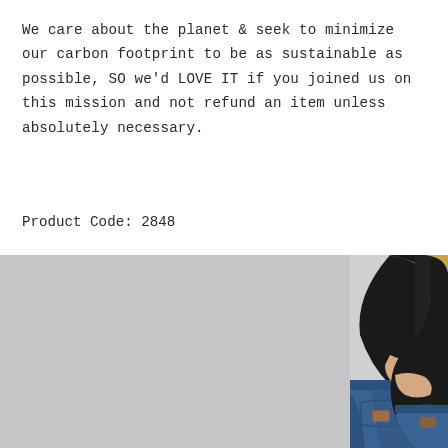We care about the planet & seek to minimize our carbon footprint to be as sustainable as possible, SO we'd LOVE IT if you joined us on this mission and not refund an item unless absolutely necessary.
Product Code: 2848
[Figure (photo): Side/back view of a woman wearing blue high-waisted jeans with a brown brand patch on the back pocket, paired with a black long-sleeve top. The model has blonde hair and her hands are behind her back. Background is light grey/white.]